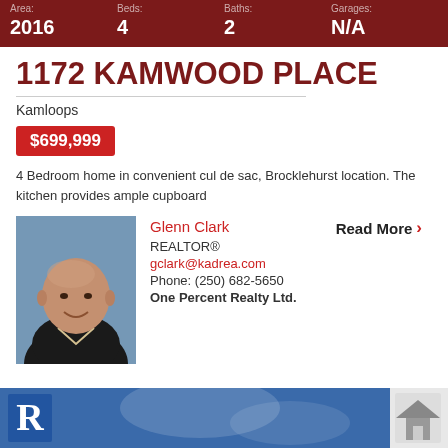| Area: | Beds: | Baths: | Garages: |
| --- | --- | --- | --- |
| 2016 | 4 | 2 | N/A |
1172 KAMWOOD PLACE
Kamloops
$699,999
4 Bedroom home in convenient cul de sac, Brocklehurst location. The kitchen provides ample cupboard
Glenn Clark
REALTOR®
gclark@kadrea.com
Phone: (250) 682-5650
One Percent Realty Ltd.
Read More